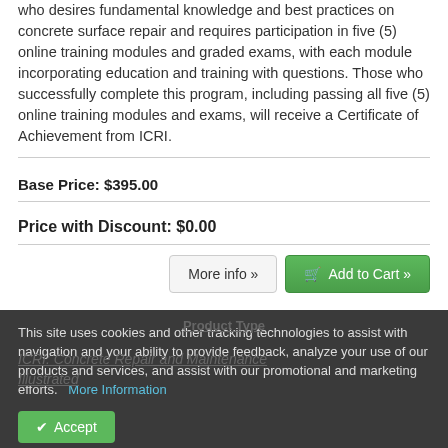who desires fundamental knowledge and best practices on concrete surface repair and requires participation in five (5) online training modules and graded exams, with each module incorporating education and training with questions. Those who successfully complete this program, including passing all five (5) online training modules and exams, will receive a Certificate of Achievement from ICRI.
Base Price: $395.00
Price with Discount: $0.00
More info »
Add to Cart »
This site uses cookies and other tracking technologies to assist with navigation and your ability to provide feedback, analyze your use of our products and services, and assist with our promotional and marketing efforts.   More Information
Accept
Product Type
ICRI: Concrete Repair and Maintenance Illustrated